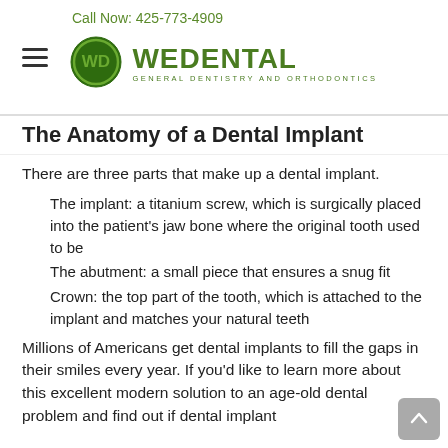Call Now: 425-773-4909
[Figure (logo): WeDental logo with green circle containing WD initials and text WEDENTAL GENERAL DENTISTRY AND ORTHODONTICS]
The Anatomy of a Dental Implant
There are three parts that make up a dental implant.
The implant: a titanium screw, which is surgically placed into the patient’s jaw bone where the original tooth used to be
The abutment: a small piece that ensures a snug fit
Crown: the top part of the tooth, which is attached to the implant and matches your natural teeth
Millions of Americans get dental implants to fill the gaps in their smiles every year. If you’d like to learn more about this excellent modern solution to an age-old dental problem and find out if dental implant